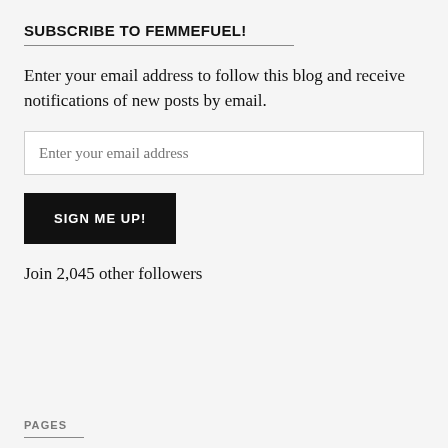SUBSCRIBE TO FEMMEFUEL!
Enter your email address to follow this blog and receive notifications of new posts by email.
Join 2,045 other followers
PAGES